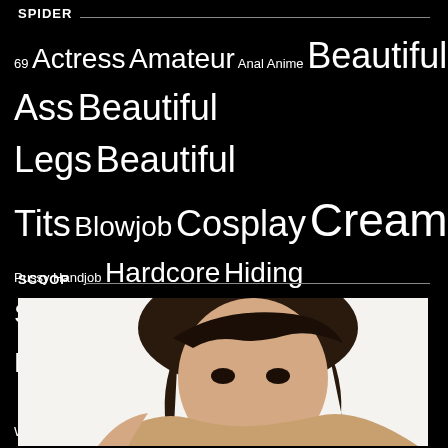SPIDER
69 Actress Amateur Anal Anime Beautiful Ass Beautiful Legs Beautiful Tits Blowjob Cosplay Creampie Cunni Exposure Fetish Game Gay Hairless Pussy Handjob Hardcore Hiding Shooting Huge Breasts Idol Incest Lesbian Lolicon Mania Married Woman Masturbation Mature Woman Nampa POV Rape Scat Schoolgirl Shemale Sister Slut SM Small Tits Squirting Tits Masturbation Urination Vibrator World
SCOOP
[Figure (photo): Photo of a woman with dark hair and bangs, looking at camera]